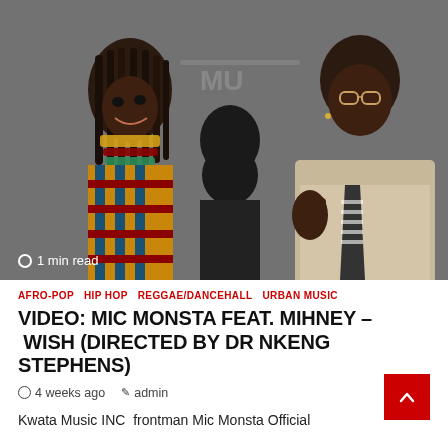[Figure (photo): Photo of two people facing each other: a woman in colorful African attire on the left and a man in a suit on the right, with another person visible in the background. Text overlay reads '1 min read'.]
AFRO-POP
HIP HOP
REGGAE/DANCEHALL
URBAN MUSIC
VIDEO: MIC MONSTA FEAT. MIHNEY – WISH (DIRECTED BY DR NKENG STEPHENS)
4 weeks ago   admin
Kwata Music INC  frontman Mic Monsta Official